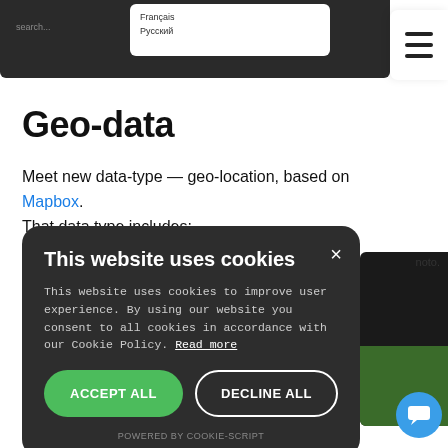[Figure (screenshot): Top portion of a website screenshot showing a dark navigation bar with a dropdown language selector (Français, Русский) and a hamburger menu icon on the right side.]
Geo-data
Meet new data-type — geo-location, based on Mapbox. That data type includes:
[Figure (screenshot): Cookie consent overlay on a dark background. Title: 'This website uses cookies'. Body text explains cookie usage policy with a 'Read more' link. Two buttons: ACCEPT ALL (green) and DECLINE ALL (outline). Footer: POWERED BY COOKIE-SCRIPT.]
[Figure (screenshot): Partial screenshot of a web application on the right side, showing a dark toolbar area and a green satellite map view below.]